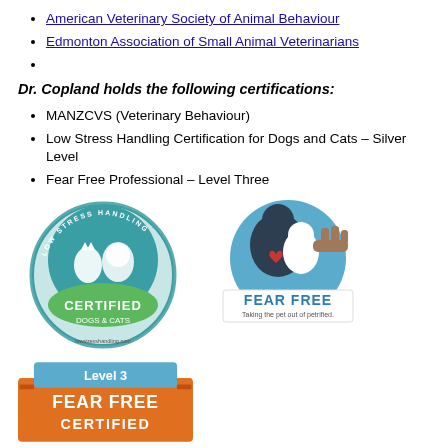American Veterinary Society of Animal Behaviour
Edmonton Association of Small Animal Veterinarians
Dr. Copland holds the following certifications:
MANZCVS (Veterinary Behaviour)
Low Stress Handling Certification for Dogs and Cats – Silver Level
Fear Free Professional – Level Three
[Figure (logo): Low Stress Handling Certified Dogs & Cats badge - circular green and teal badge with silhouettes of a cat and dog]
[Figure (logo): Fear Free - Taking the pet out of petrified. Logo with dog and cat silhouettes on blue background]
[Figure (logo): Level 3 Fear Free Certified badge with orange and blue colors]